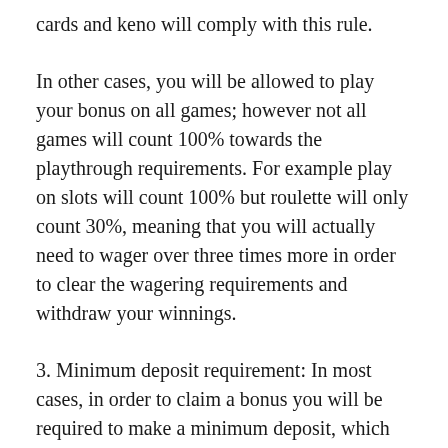cards and keno will comply with this rule.
In other cases, you will be allowed to play your bonus on all games; however not all games will count 100% towards the playthrough requirements. For example play on slots will count 100% but roulette will only count 30%, meaning that you will actually need to wager over three times more in order to clear the wagering requirements and withdraw your winnings.
3. Minimum deposit requirement: In most cases, in order to claim a bonus you will be required to make a minimum deposit, which again can vary. It’s generally a small amount which you will probably deposit anyway. It’s usually not over $50.